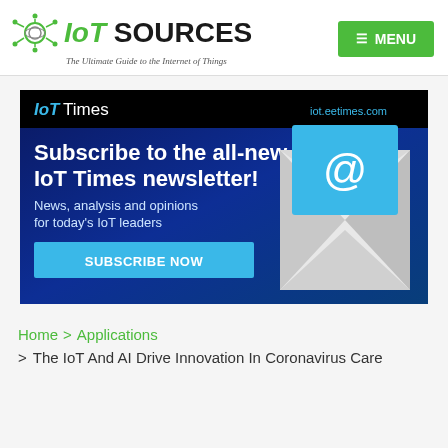[Figure (logo): IoT SOURCES logo with globe/node icon and tagline 'The Ultimate Guide to the Internet of Things']
[Figure (infographic): IoT Times newsletter subscription advertisement banner with dark blue background, envelope icon with @ symbol, headline 'Subscribe to the all-new IoT Times newsletter!', subtext 'News, analysis and opinions for today's IoT leaders', and a cyan SUBSCRIBE NOW button. Top bar shows 'IoT Times' branding and 'iot.eetimes.com' URL.]
Home > Applications
> The IoT And AI Drive Innovation In Coronavirus Care